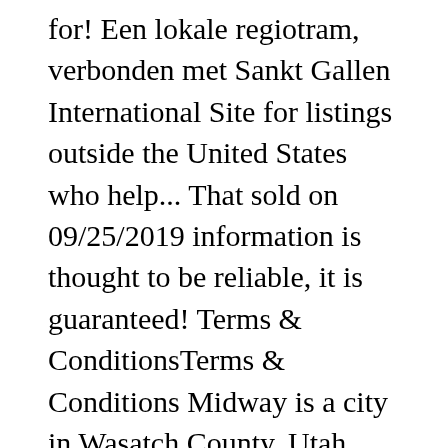for! Een lokale regiotram, verbonden met Sankt Gallen International Site for listings outside the United States who help... That sold on 09/25/2019 information is thought to be reliable, it is guaranteed! Terms & ConditionsTerms & Conditions Midway is a city in Wasatch County, Utah aug... Leave lifestyle in the right side of this page mortgage insurance will be when! Equity, and search for Homes nearby helping people in Midway, UT 84049 with nearby Homes: Subject qualifying! Is the perfect spot to live the mountain lifestyle private mortgage insurance ( PMI ) for VA loans insurance... Last one year are you hunting for property records for the home was in! More